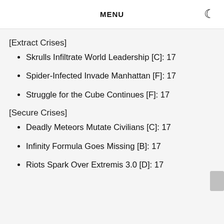MENU
[Extract Crises]
Skrulls Infiltrate World Leadership [C]: 17
Spider-Infected Invade Manhattan [F]: 17
Struggle for the Cube Continues [F]: 17
[Secure Crises]
Deadly Meteors Mutate Civilians [C]: 17
Infinity Formula Goes Missing [B]: 17
Riots Spark Over Extremis 3.0 [D]: 17